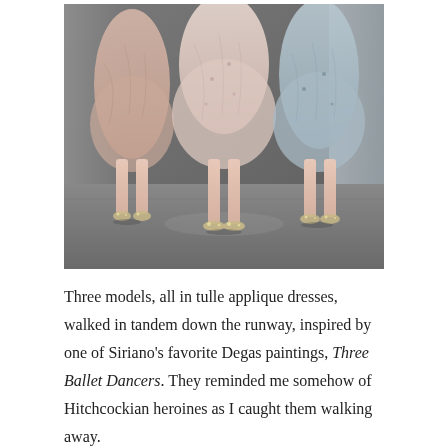[Figure (photo): Three models from the waist down, wearing tulle applique dresses — one in blush/peach, one in pale pink, one in light blue/grey — with sparkly heeled shoes, walking on a grey runway floor with grey draped backdrop.]
Three models, all in tulle applique dresses, walked in tandem down the runway, inspired by one of Siriano's favorite Degas paintings, Three Ballet Dancers. They reminded me somehow of Hitchcockian heroines as I caught them walking away.